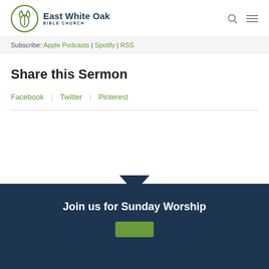East White Oak Bible Church
Subscribe: Apple Podcasts | Spotify | RSS
Share this Sermon
Facebook | Twitter | Pinterest
Join us for Sunday Worship